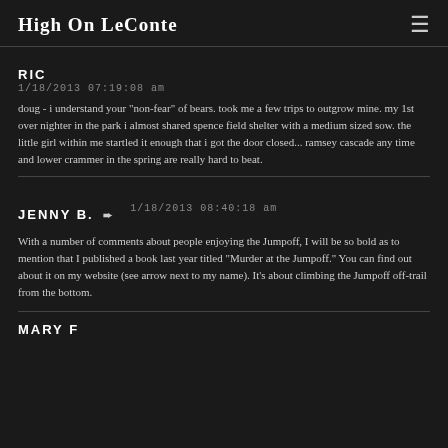High On LeConte
RIC
1/18/2013  07:19:08  am
doug - i understand your "non-fear" of bears. took me a few trips to outgrow mine. my 1st over nighter in the park i almost shared spence field shelter with a medium sized sow. the little girl within me startled it enough that i got the door closed... ramsey cascade any time and lower crammer in the spring are really hard to beat.
JENNY B.
1/18/2013  08:40:18  am
With a number of comments about people enjoying the Jumpoff, I will be so bold as to mention that I published a book last year titled "Murder at the Jumpoff." You can find out about it on my website (see arrow next to my name). It's about climbing the Jumpoff off-trail from the bottom.
MARY F